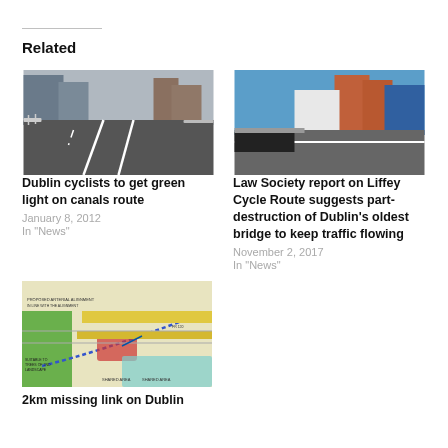Related
[Figure (photo): Road/cycle lane on a bridge in Dublin, urban setting]
Dublin cyclists to get green light on canals route
January 8, 2012
In "News"
[Figure (photo): Street view near Liffey, old bridge and buildings visible]
Law Society report on Liffey Cycle Route suggests part-destruction of Dublin’s oldest bridge to keep traffic flowing
November 2, 2017
In "News"
[Figure (map): Planning/engineering map showing a 2km route with cycle paths and road layout]
2km missing link on Dublin